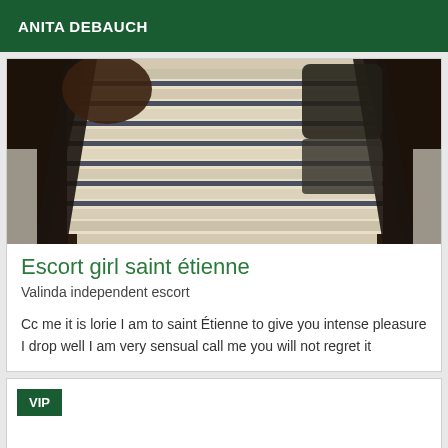ANITA DEBAUCH
[Figure (photo): Close-up photo of a striped fabric item with dark straps or handles, lying on a light surface, viewed from above.]
Escort girl saint étienne
Valinda independent escort
Cc me it is lorie I am to saint Étienne to give you intense pleasure I drop well I am very sensual call me you will not regret it
VIP